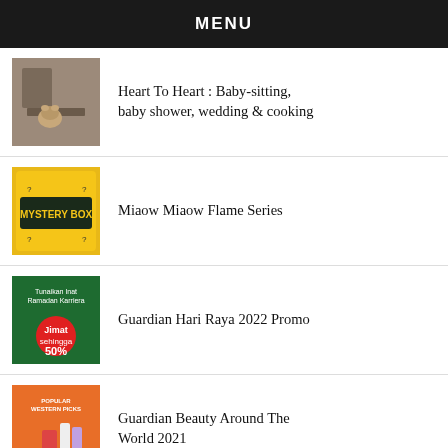MENU
Heart To Heart : Baby-sitting, baby shower, wedding & cooking
Miaow Miaow Flame Series
Guardian Hari Raya 2022 Promo
Guardian Beauty Around The World 2021